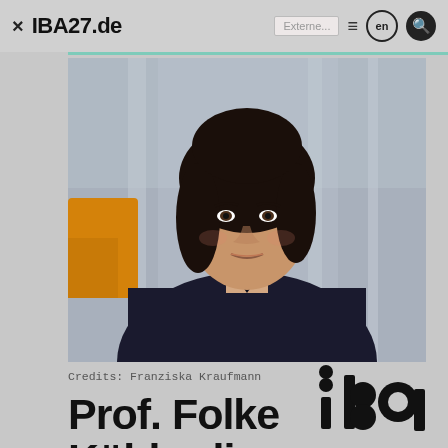× IBA27.de  Externe  ≡  en  🔍
[Figure (photo): Portrait photograph of Prof. Folke Köbberling, a woman with short dark hair wearing a dark blazer, photographed in an interior space with blurred background]
Credits: Franziska Kraufmann
Prof. Folke Köbberling
[Figure (logo): IBA logo — stylized letters 'iba' made of circles and rectangles in black]